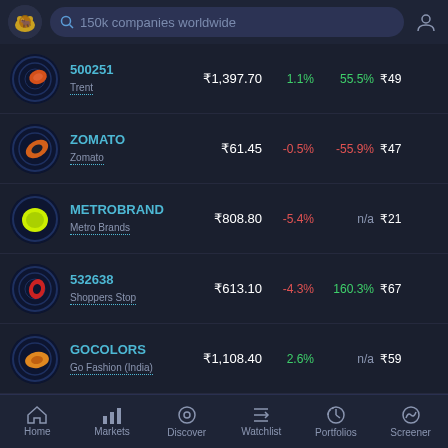[Figure (screenshot): App header with logo, search bar reading '150k companies worldwide', and profile icon]
| Ticker/Name | Price | Change% | 52W% | Extra |
| --- | --- | --- | --- | --- |
| 500251 / Trent | ₹1,397.70 | 1.1% | 55.5% | ₹49 |
| ZOMATO / Zomato | ₹61.45 | -0.5% | -55.9% | ₹47 |
| METROBRAND / Metro Brands | ₹808.80 | -5.4% | n/a | ₹21 |
| 532638 / Shoppers Stop | ₹613.10 | -4.3% | 160.3% | ₹67 |
| GOCOLORS / Go Fashion (India) | ₹1,108.40 | 2.6% | n/a | ₹59 |
[Figure (screenshot): Bottom navigation bar with Home, Markets, Discover, Watchlist, Portfolios, Screener]